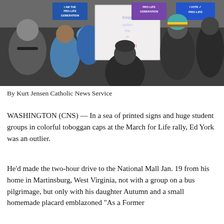[Figure (photo): Crowd at a pro-life march holding signs including 'I AM THE PRO-LIFE GENERATION', 'PRO-LIFE GENERATION', 'Keep Option the in Abortion', and 'I VOTE PRO-LIFE'. People wearing colorful hats and winter clothes.]
By Kurt Jensen Catholic News Service
WASHINGTON (CNS) — In a sea of printed signs and huge student groups in colorful toboggan caps at the March for Life rally, Ed York was an outlier.
He'd made the two-hour drive to the National Mall Jan. 19 from his home in Martinsburg, West Virginia, not with a group on a bus pilgrimage, but only with his daughter Autumn and a small homemade placard emblazoned “As a Former